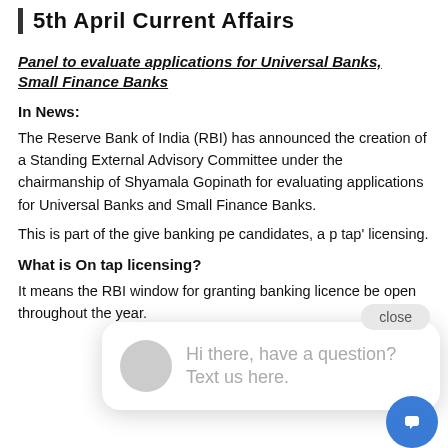5th April Current Affairs
Panel to evaluate applications for Universal Banks, Small Finance Banks
In News:
The Reserve Bank of India (RBI) has announced the creation of a Standing External Advisory Committee under the chairmanship of Shyamala Gopinath for evaluating applications for Universal Banks and Small Finance Banks.
This is part of the... give banking pe... candidates, a p... tap' licensing.
What is On tap licensing?
It means the RBI window for granting banking licence... be open throughout the year.